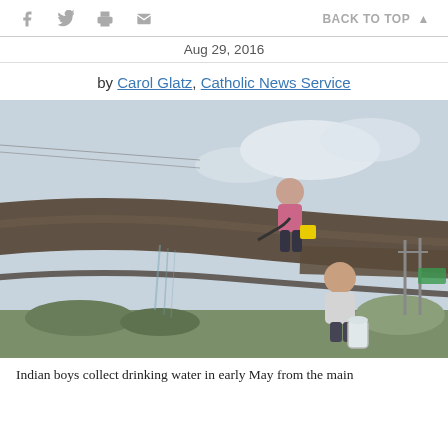f  [twitter]  [print]  [email]   BACK TO TOP ▲
Aug 29, 2016
by Carol Glatz, Catholic News Service
[Figure (photo): Two Indian boys collecting drinking water from a large water main pipe. One boy stands on top of the pipe working at a valve, another stands below holding a metal canister to collect water dripping from the pipe.]
Indian boys collect drinking water in early May from the main